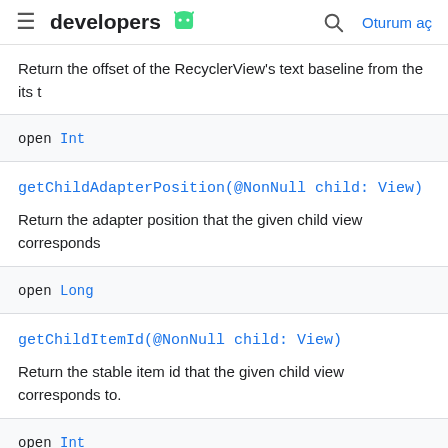developers [android logo] [search] Oturum aç
Return the offset of the RecyclerView's text baseline from the its t
open Int
getChildAdapterPosition(@NonNull child: View)
Return the adapter position that the given child view corresponds
open Long
getChildItemId(@NonNull child: View)
Return the stable item id that the given child view corresponds to.
open Int